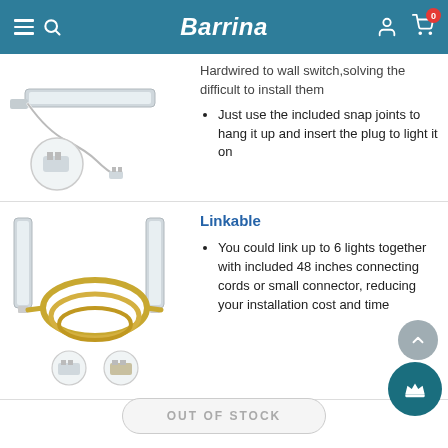Barrina
[Figure (photo): Product photo showing LED light fixture with white power cord, connector plug, and circular detail inset of the plug end]
Hardwired to wall switch,solving the difficult to install them
• Just use the included snap joints to hang it up and insert the plug to light it on
[Figure (photo): Product photo showing two LED tube lights connected with yellow/gold linking cord, and two small connector inset images at bottom]
Linkable
You could link up to 6 lights together with included 48 inches connecting cords or small connector, reducing your installation cost and time
OUT OF STOCK